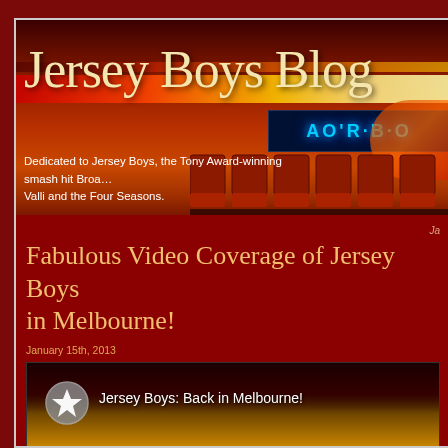Jersey Boys Blog
Dedicated to Jersey Boys, the Tony Award-winning smash hit Broadway musical based on the lives of Frankie Valli and the Four Seasons.
Ja
Fabulous Video Coverage of Jersey Boys in Melbourne!
January 15th, 2013
[Figure (screenshot): Video thumbnail showing Jersey Boys: Back in Melbourne! with silhouettes of performers on stage and a star play button icon]